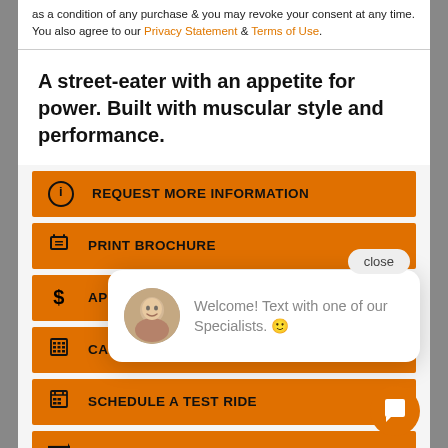as a condition of any purchase & you may revoke your consent at any time. You also agree to our Privacy Statement & Terms of Use.
A street-eater with an appetite for power. Built with muscular style and performance.
REQUEST MORE INFORMATION
PRINT BROCHURE
APPLY
CALCU
SCHEDULE A TEST RIDE
COMPARE MODELS
close
Welcome! Text with one of our Specialists. 🙂